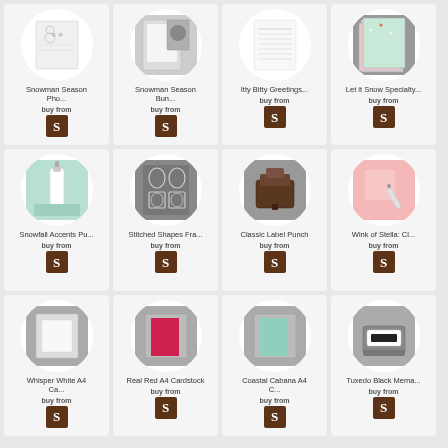[Figure (photo): Snowman Season Photopolymer stamp set product image]
Snowman Season Pho...
buy from
[Figure (photo): Snowman Season Bundle product image]
Snowman Season Bun...
buy from
[Figure (photo): Itty Bitty Greetings product image]
Itty Bitty Greetings...
buy from
[Figure (photo): Let It Snow Specialty product image]
Let it Snow Specialty...
buy from
[Figure (photo): Snowfall Accents Punch product image - white glue bottle on mint mat]
Snowfall Accents Pu...
buy from
[Figure (photo): Stitched Shapes Framelits product image - gray panel with ovals and squares]
Stitched Shapes Fra...
buy from
[Figure (photo): Classic Label Punch product image - dark brown punch tool]
Classic Label Punch
buy from
[Figure (photo): Wink of Stella Clear product image - glitter brush pen on pink paper]
Wink of Stella: Cl...
buy from
[Figure (photo): Whisper White A4 Cardstock product image]
Whisper White A4 Ca...
buy from
[Figure (photo): Real Red A4 Cardstock product image - pink/red cardstock]
Real Red A4 Cardstock
buy from
[Figure (photo): Coastal Cabana A4 Cardstock product image - mint green cardstock]
Coastal Cabana A4 C...
buy from
[Figure (photo): Tuxedo Black Memento ink pad product image]
Tuxedo Black Mema...
buy from